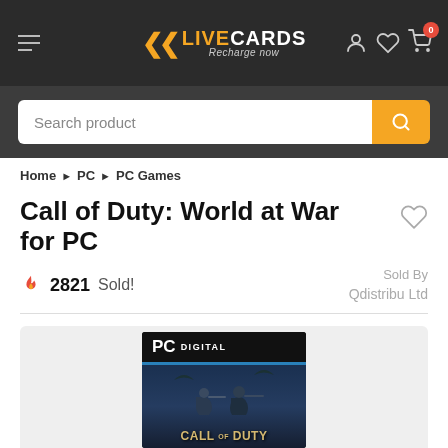LIVECARDS Recharge now
Search product
Home > PC > PC Games
Call of Duty: World at War for PC
2821 Sold!
Sold By Qdistribu Ltd
[Figure (photo): Call of Duty: World at War PC Digital game cover image showing soldiers and the Call of Duty logo]